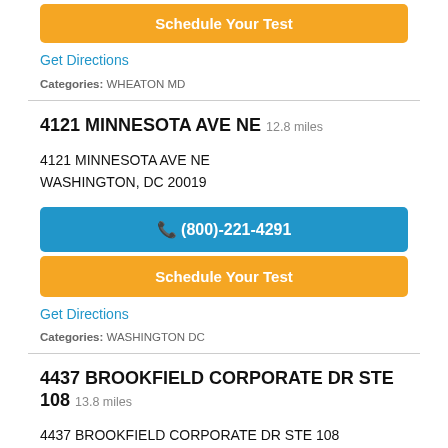Schedule Your Test
Get Directions
Categories: WHEATON MD
4121 MINNESOTA AVE NE  12.8 miles
4121 MINNESOTA AVE NE
WASHINGTON, DC 20019
(800)-221-4291
Schedule Your Test
Get Directions
Categories: WASHINGTON DC
4437 BROOKFIELD CORPORATE DR STE 108  13.8 miles
4437 BROOKFIELD CORPORATE DR STE 108
CHANTILLY, VA 20151